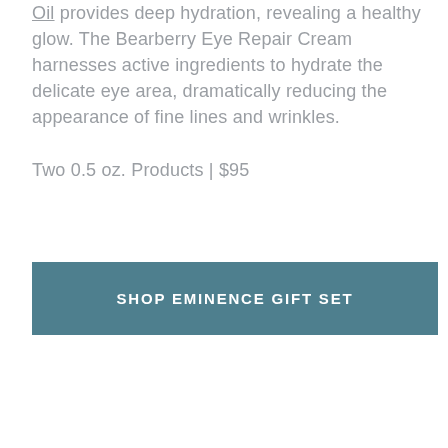Oil provides deep hydration, revealing a healthy glow. The Bearberry Eye Repair Cream harnesses active ingredients to hydrate the delicate eye area, dramatically reducing the appearance of fine lines and wrinkles.
Two 0.5 oz. Products | $95
SHOP EMINENCE GIFT SET